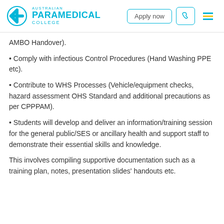Australian Paramedical College — Apply now
AMBO Handover).
• Comply with infectious Control Procedures (Hand Washing PPE etc).
• Contribute to WHS Processes (Vehicle/equipment checks, hazard assessment OHS Standard and additional precautions as per CPPPAM).
• Students will develop and deliver an information/training session for the general public/SES or ancillary health and support staff to demonstrate their essential skills and knowledge.
This involves compiling supportive documentation such as a training plan, notes, presentation slides' handouts etc.